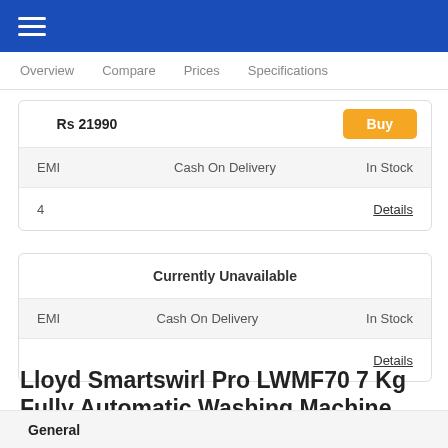≡
Overview  Compare  Prices  Specifications
|  |  |  |
| --- | --- | --- |
|  | Rs 21990 | Buy |
| EMI | Cash On Delivery | In Stock |
| 4 |  | Details |
|  |  |  |
| --- | --- | --- |
|  | Currently Unavailable |  |
| EMI | Cash On Delivery | In Stock |
|  |  | Details |
Lloyd Smartswirl Pro LWMF70 7 Kg Fully Automatic Washing Machine Specifications:
General